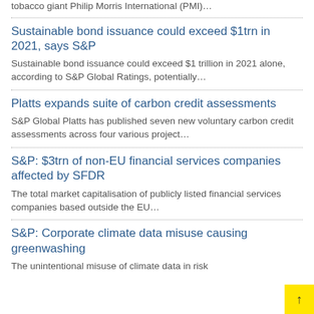tobacco giant Philip Morris International (PMI)…
Sustainable bond issuance could exceed $1trn in 2021, says S&P
Sustainable bond issuance could exceed $1 trillion in 2021 alone, according to S&P Global Ratings, potentially…
Platts expands suite of carbon credit assessments
S&P Global Platts has published seven new voluntary carbon credit assessments across four various project…
S&P: $3trn of non-EU financial services companies affected by SFDR
The total market capitalisation of publicly listed financial services companies based outside the EU…
S&P: Corporate climate data misuse causing greenwashing
The unintentional misuse of climate data in risk models is becoming a growing…